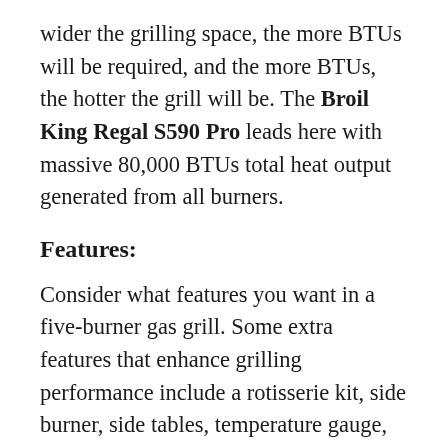wider the grilling space, the more BTUs will be required, and the more BTUs, the hotter the grill will be. The Broil King Regal S590 Pro leads here with massive 80,000 BTUs total heat output generated from all burners.
Features:
Consider what features you want in a five-burner gas grill. Some extra features that enhance grilling performance include a rotisserie kit, side burner, side tables, temperature gauge, warming rack, and LED-